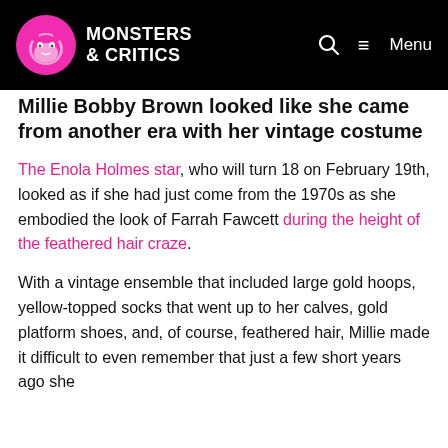Monsters & Critics | Menu
Millie Bobby Brown looked like she came from another era with her vintage costume
The Enola Holmes star, who will turn 18 on February 19th, looked as if she had just come from the 1970s as she embodied the look of Farrah Fawcett during the height of the feathered hair craze.
With a vintage ensemble that included large gold hoops, yellow-topped socks that went up to her calves, gold platform shoes, and, of course, feathered hair, Millie made it difficult to even remember that just a few short years ago she